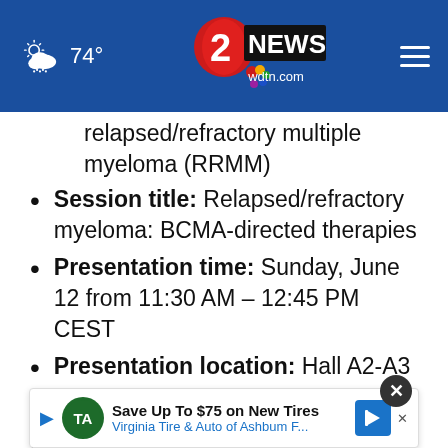[Figure (screenshot): WDTN 2 News website header bar with weather (cloud icon, 74°), NBC 2 News / wdtn.com logo, and hamburger menu icon on blue background]
relapsed/refractory multiple myeloma (RRMM)
Session title: Relapsed/refractory myeloma: BCMA-directed therapies
Presentation time: Sunday, June 12 from 11:30 AM – 12:45 PM CEST
Presentation location: Hall A2-A3
For more information about the EHA2022 Hybrid Congress, visit www.ehaweb.org
Clin... [Clinical update conference call and]